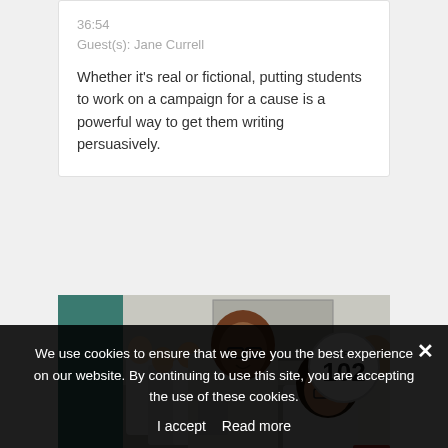36:54
Guest(s): Jane Currell
Whether it's real or fictional, putting students to work on a campaign for a cause is a powerful way to get them writing persuasively.
[Figure (photo): Students in white lab coats working in a science laboratory. A male student with glasses in the foreground faces a female student. Other students visible in the background. An EP. 102 badge overlaid in the top right corner.]
We use cookies to ensure that we give you the best experience on our website. By continuing to use this site, you are accepting the use of these cookies.
I accept   Read more